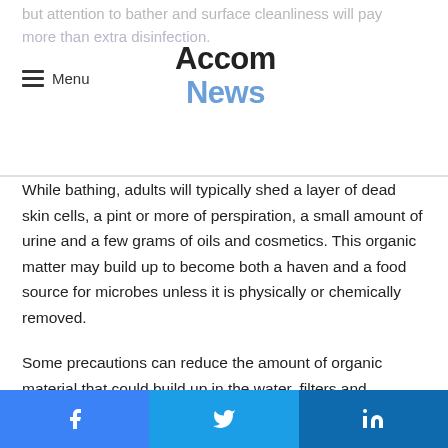but attention to bather and surface cleanliness will pay more than extra disinfection. [Accom News logo] Menu
While bathing, adults will typically shed a layer of dead skin cells, a pint or more of perspiration, a small amount of urine and a few grams of oils and cosmetics. This organic matter may build up to become both a haven and a food source for microbes unless it is physically or chemically removed.
Some precautions can reduce the amount of organic material that could build up in the water, filters and circulation systems. For example, the amount of organic material that makes it into the water can be reduced if guests are required to take a quick shower before entering the pool or spa.
Facebook Twitter LinkedIn